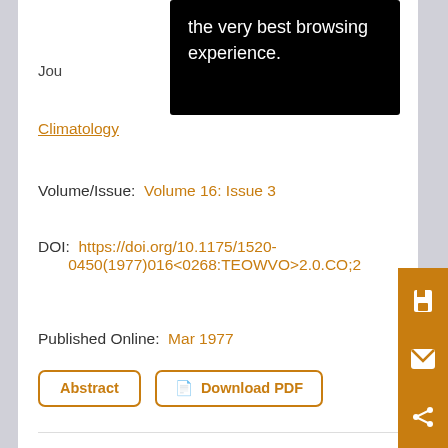the very best browsing experience.
Journal of
Climatology
Volume/Issue:  Volume 16: Issue 3
DOI:  https://doi.org/10.1175/1520-0450(1977)016<0268:TEOWVO>2.0.CO;2
Published Online:  Mar 1977
Abstract
Download PDF
Items per page 10
Sort by Relevance